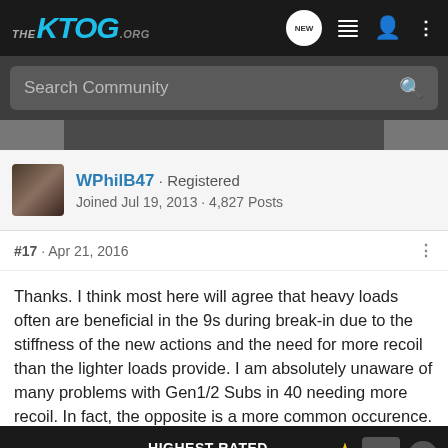THE KTOG.ORG
Search Community
[Figure (screenshot): Partial image visible at top of post]
WPhilB47 · Registered
Joined Jul 19, 2013 · 4,827 Posts
#17 · Apr 21, 2016
Thanks. I think most here will agree that heavy loads often are beneficial in the 9s during break-in due to the stiffness of the new actions and the need for more recoil than the lighter loads provide. I am absolutely unaware of many problems with Gen1/2 Subs in 40 needing more recoil. In fact, the opposite is a more common occurence. There have been problems reported more often with 180 grain loads. If it were mine, I would tr... tter which w... ake
[Figure (screenshot): Cabela's advertisement overlay: HIGHEST-RATED GEAR, rating 4.2 stars, gear image]